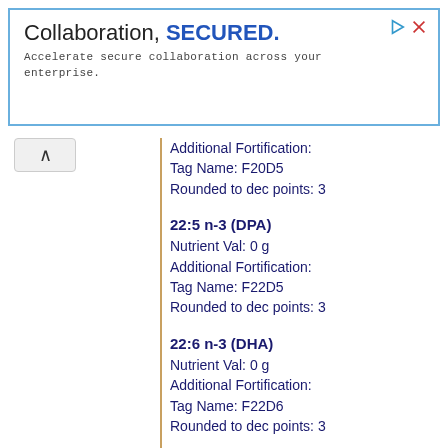[Figure (other): Advertisement banner: 'Collaboration, SECURED. Accelerate secure collaboration across your enterprise.' with blue border and icons.]
Additional Fortification:
Tag Name: F20D5
Rounded to dec points: 3
22:5 n-3 (DPA)
Nutrient Val: 0 g
Additional Fortification:
Tag Name: F22D5
Rounded to dec points: 3
22:6 n-3 (DHA)
Nutrient Val: 0 g
Additional Fortification:
Tag Name: F22D6
Rounded to dec points: 3
Fatty acids, total trans
Nutrient Val: 1 g
Additional Fortification:
Tag Name: FATRN
Rounded to dec points: 3